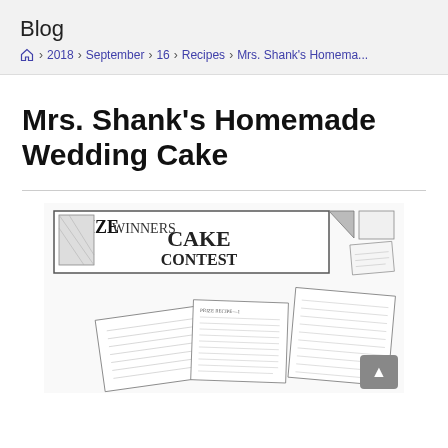Blog
Home > 2018 > September > 16 > Recipes > Mrs. Shank's Homema...
Mrs. Shank's Homemade Wedding Cake
[Figure (illustration): Black and white illustration showing a 'Prize Winners in Cake Contest' banner with scattered recipe clippings and newspaper pages below it.]